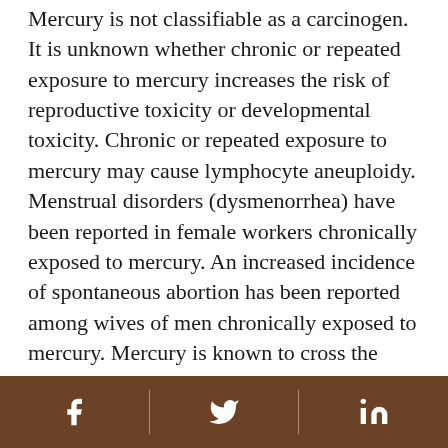Mercury is not classifiable as a carcinogen. It is unknown whether chronic or repeated exposure to mercury increases the risk of reproductive toxicity or developmental toxicity. Chronic or repeated exposure to mercury may cause lymphocyte aneuploidy. Menstrual disorders (dysmenorrhea) have been reported in female workers chronically exposed to mercury. An increased incidence of spontaneous abortion has been reported among wives of men chronically exposed to mercury. Mercury is known to cross the placental barrier. Repeated or continuous exposure to elemental mercury can result in accumulation of mercury in the body and permanent damage to the nervous system and kidneys. Classic health effects of poisoning include neurological and psychiatric...
[Facebook icon] [Twitter icon] [LinkedIn icon]